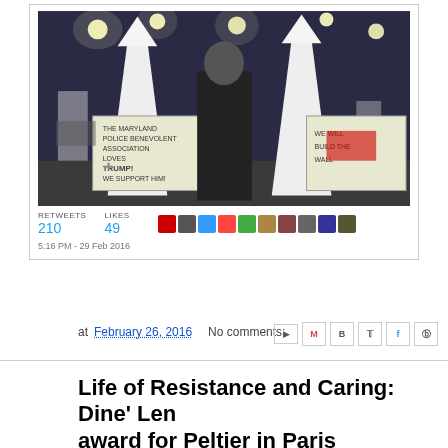[Figure (screenshot): Screenshot of a tweet showing a photo of two people in KKK robes holding signs, with retweet count 210, likes 49, and timestamp 5:16 PM - 29 Feb 2016]
at February 26, 2016    No comments:
Life of Resistance and Caring: Dine' Len award for Peltier in Paris